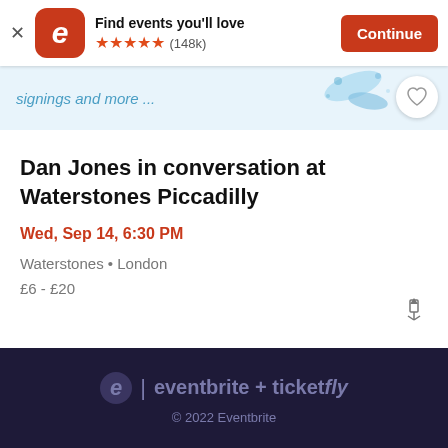[Figure (screenshot): Eventbrite app banner with logo, 'Find events you'll love', 5-star rating (148k), and Continue button]
[Figure (screenshot): Event image banner showing 'signings and more ...' text with blue ink splash decoration and heart/save button]
Dan Jones in conversation at Waterstones Piccadilly
Wed, Sep 14, 6:30 PM
Waterstones • London
£6 - £20
eventbrite + ticketfly
© 2022 Eventbrite